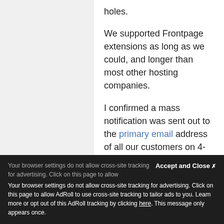holes.
We supported Frontpage extensions as long as we could, and longer than most other hosting companies.
I confirmed a mass notification was sent out to the primary email address of all our customers on 4-22-14.
Unfortunately, Frontpage extensions are incapable of keeping up with the modern internet standards, and is becoming more outdated everyday.
Thank you,
Accept and Close
Your browser settings do not allow cross-site tracking for advertising. Click on this page to allow AdRoll to use cross-site tracking to tailor ads to you. Learn more or opt out of this AdRoll tracking by clicking here. This message only appears once.